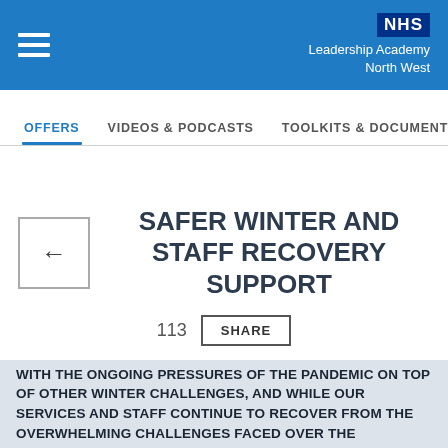NHS Leadership Academy North West
OFFERS | VIDEOS & PODCASTS | TOOLKITS & DOCUMENTS
SAFER WINTER AND STAFF RECOVERY SUPPORT
113  SHARE
WITH THE ONGOING PRESSURES OF THE PANDEMIC ON TOP OF OTHER WINTER CHALLENGES, AND WHILE OUR SERVICES AND STAFF CONTINUE TO RECOVER FROM THE OVERWHELMING CHALLENGES FACED OVER THE